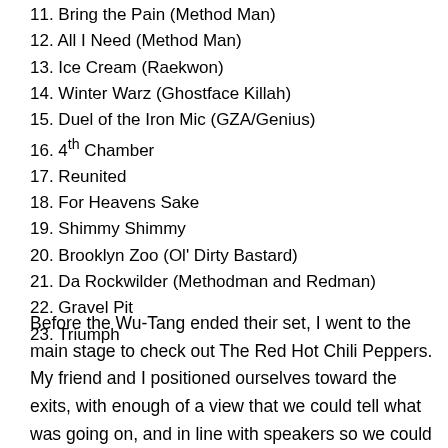11. Bring the Pain (Method Man)
12. All I Need (Method Man)
13. Ice Cream (Raekwon)
14. Winter Warz (Ghostface Killah)
15. Duel of the Iron Mic (GZA/Genius)
16. 4th Chamber
17. Reunited
18. For Heavens Sake
19. Shimmy Shimmy
20. Brooklyn Zoo (Ol' Dirty Bastard)
21. Da Rockwilder (Methodman and Redman)
22. Gravel Pit
23. Triumph
Before the Wu-Tang ended their set, I went to the main stage to check out The Red Hot Chili Peppers. My friend and I positioned ourselves toward the exits, with enough of a view that we could tell what was going on, and in line with speakers so we could hear something at least.